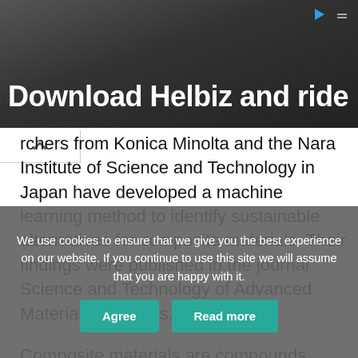[Figure (photo): Advertisement banner showing a scooter/handlebar with text 'Download Helbiz and ride' on a dark background]
rchers from Konica Minolta and the Nara Institute of Science and Technology in Japan have developed a machine learning method to identify sustainable alternatives for composite materials. Their findings were published in the journal Science and Technology of Advanced Materials: Methods.
Composite materials are compounds made of two or more constituent materials. Due to the complex nature of the interactions between the different components, their
We use cookies to ensure that we give you the best experience on our website. If you continue to use this site we will assume that you are happy with it.